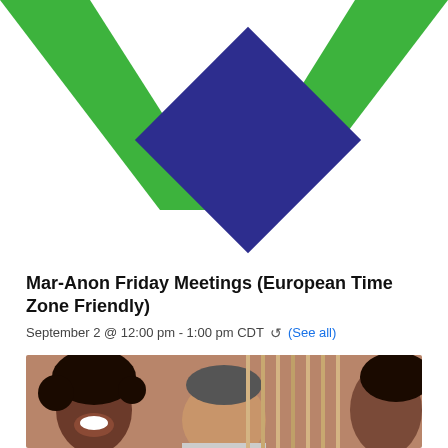[Figure (logo): Nar-Anon / Mar-Anon logo: large green V-shaped stripes on left and right, with a dark blue rotated square (diamond) in the center, on white background]
Mar-Anon Friday Meetings (European Time Zone Friendly)
September 2 @ 12:00 pm - 1:00 pm CDT  ↺ (See all)
[Figure (photo): Photo of three people smiling, two in the foreground and one partially visible on the right, with bookshelves in the background]